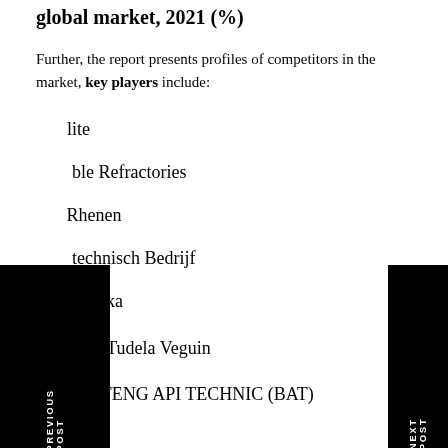Key companies in [missing] refractory share in global market, 2021 (%)
Further, the report presents profiles of competitors in the market, key players include:
[Insu]lite
[Dura]ble Refractories
[van ]Rhenen
[Vuur]technisch Bedrijf
[...] Polska
Morteros Tudela Veguin
PT. BENTENG API TECHNIC (BAT)
Caparol